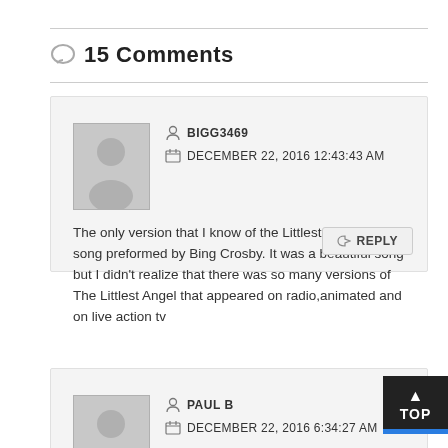15 Comments
BIGG3469
DECEMBER 22, 2016 12:43:43 AM
The only version that I know of the Littlest Angel was a song preformed by Bing Crosby. It was a beautiful song but I didn't realize that there was so many versions of The Littlest Angel that appeared on radio,animated and on live action tv
PAUL B
DECEMBER 22, 2016 6:34:27 AM
Thank you for posting this version of "The Littlest Angel". Oddly enough, I was just thinking about this cartoon last night. I remember this film being shown at